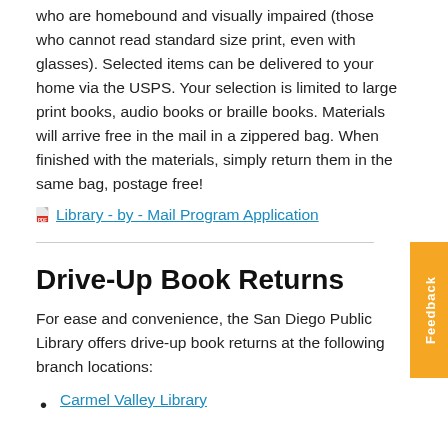who are homebound and visually impaired (those who cannot read standard size print, even with glasses). Selected items can be delivered to your home via the USPS. Your selection is limited to large print books, audio books or braille books. Materials will arrive free in the mail in a zippered bag. When finished with the materials, simply return them in the same bag, postage free!
Library - by - Mail Program Application
Drive-Up Book Returns
For ease and convenience, the San Diego Public Library offers drive-up book returns at the following branch locations:
Carmel Valley Library